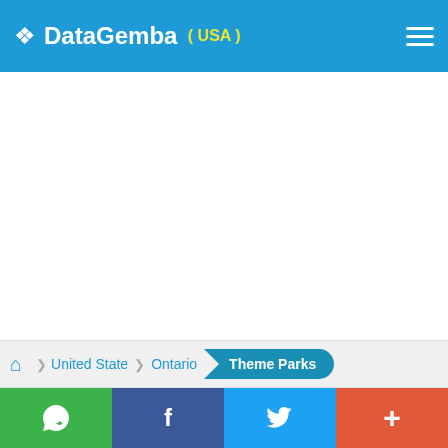DataGemba (USA)
United State  Ontario  Theme Parks
WhatsApp  Facebook  Twitter  +